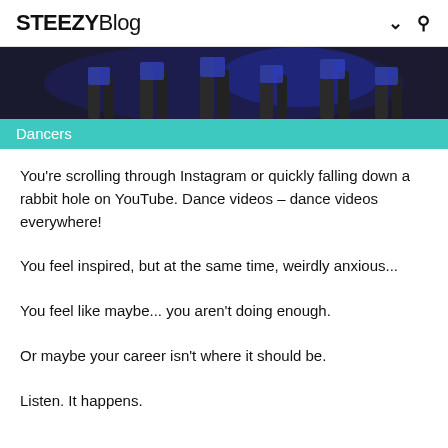STEEZYBlog
[Figure (photo): Dancers performing on stage with blue lighting, cropped view showing lower bodies and legs]
Dancers
You're scrolling through Instagram or quickly falling down a rabbit hole on YouTube. Dance videos – dance videos everywhere!
You feel inspired, but at the same time, weirdly anxious...
You feel like maybe... you aren't doing enough.
Or maybe your career isn't where it should be.
Listen. It happens.